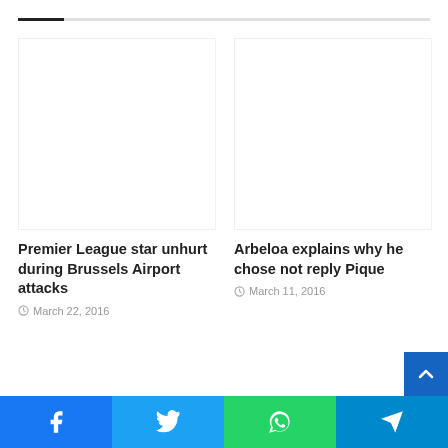[Figure (other): Progress bar at top of page — dark fill on light background]
[Figure (photo): Article thumbnail placeholder — blank white area for left article]
Premier League star unhurt during Brussels Airport attacks
March 22, 2016
[Figure (photo): Article thumbnail placeholder — blank white area for right article]
Arbeloa explains why he chose not reply Pique
March 11, 2016
[Figure (other): Social sharing bar at bottom: Facebook (blue), Twitter (light blue), WhatsApp (green), Telegram (dark blue)]